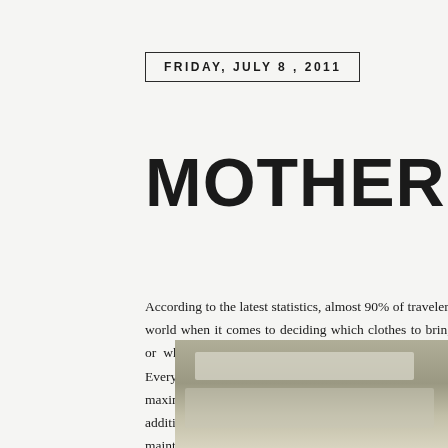FRIDAY, JULY 8, 2011
MOTHER PA
According to the latest statistics, almost 90% of travelers world when it comes to deciding which clothes to bring or what shoes t all made up, but you get my point. Everyone hates packing, espe hand carried bags with a maximum weight of 7 kilograms. If the he shall pay an additional fee starting at Php 250. I surmise that it to maintain its profit. But I realize that this might help traveler share some tips on how to pack wisely.
[Figure (photo): Photo of luggage/suitcase being packed, shown at bottom of page]